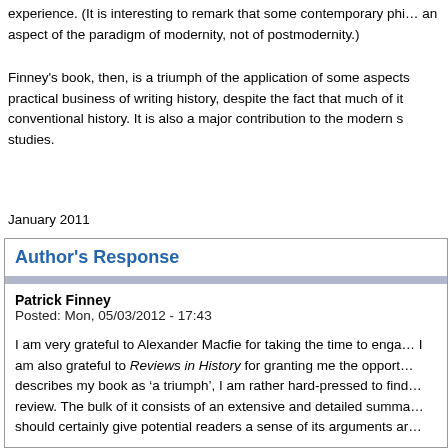experience. (It is interesting to remark that some contemporary phi... an aspect of the paradigm of modernity, not of postmodernity.)
Finney’s book, then, is a triumph of the application of some aspects... practical business of writing history, despite the fact that much of it... conventional history. It is also a major contribution to the modern s... studies.
January 2011
Author's Response
Patrick Finney
Posted: Mon, 05/03/2012 - 17:43
I am very grateful to Alexander Macfie for taking the time to enga... I am also grateful to Reviews in History for granting me the opport... describes my book as ‘a triumph’, I am rather hard-pressed to find... review. The bulk of it consists of an extensive and detailed summa... should certainly give potential readers a sense of its arguments ar...